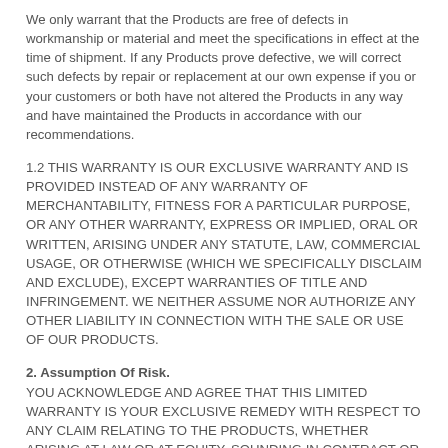We only warrant that the Products are free of defects in workmanship or material and meet the specifications in effect at the time of shipment. If any Products prove defective, we will correct such defects by repair or replacement at our own expense if you or your customers or both have not altered the Products in any way and have maintained the Products in accordance with our recommendations.
1.2 THIS WARRANTY IS OUR EXCLUSIVE WARRANTY AND IS PROVIDED INSTEAD OF ANY WARRANTY OF MERCHANTABILITY, FITNESS FOR A PARTICULAR PURPOSE, OR ANY OTHER WARRANTY, EXPRESS OR IMPLIED, ORAL OR WRITTEN, ARISING UNDER ANY STATUTE, LAW, COMMERCIAL USAGE, OR OTHERWISE (WHICH WE SPECIFICALLY DISCLAIM AND EXCLUDE), EXCEPT WARRANTIES OF TITLE AND INFRINGEMENT. WE NEITHER ASSUME NOR AUTHORIZE ANY OTHER LIABILITY IN CONNECTION WITH THE SALE OR USE OF OUR PRODUCTS.
2. Assumption Of Risk.
YOU ACKNOWLEDGE AND AGREE THAT THIS LIMITED WARRANTY IS YOUR EXCLUSIVE REMEDY WITH RESPECT TO ANY CLAIM RELATING TO THE PRODUCTS, WHETHER ARISING AT LAW OR AT EQUITY, SOUNDING IN CONTRACT OR TORT OR OTHERWISE OTHER THAN CLAIMS FOR PERSONAL INJURY PROXIMATELY